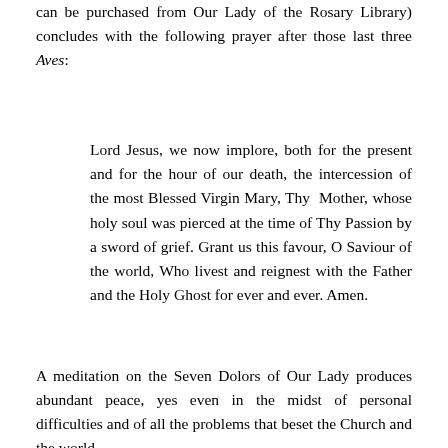can be purchased from Our Lady of the Rosary Library) concludes with the following prayer after those last three Aves:
Lord Jesus, we now implore, both for the present and for the hour of our death, the intercession of the most Blessed Virgin Mary, Thy Mother, whose holy soul was pierced at the time of Thy Passion by a sword of grief. Grant us this favour, O Saviour of the world, Who livest and reignest with the Father and the Holy Ghost for ever and ever. Amen.
A meditation on the Seven Dolors of Our Lady produces abundant peace, yes even in the midst of personal difficulties and of all the problems that beset the Church and the world.